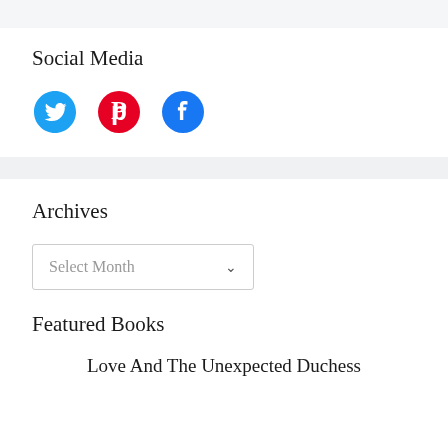Social Media
[Figure (infographic): Three social media icons: Twitter bird (blue), Pinterest P (blue), Facebook F (blue circle)]
Archives
Select Month
Featured Books
Love And The Unexpected Duchess